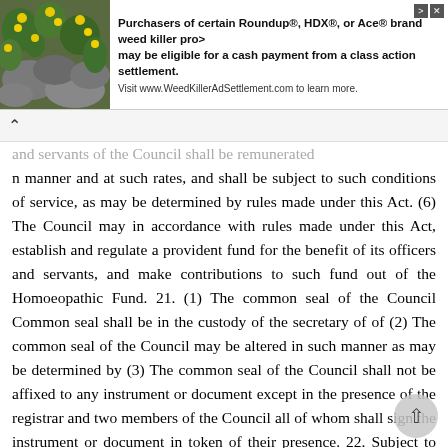[Figure (other): Advertisement banner: image of yellow flowers on rocks on left, text about Roundup/HDX/Ace weed killer class action settlement on right]
∧
and servants of the Council shall be remunerated in manner and at such rates, and shall be subject to such conditions of service, as may be determined by rules made under this Act. (6) The Council may in accordance with rules made under this Act, establish and regulate a provident fund for the benefit of its officers and servants, and make contributions to such fund out of the Homoeopathic Fund. 21. (1) The common seal of the Council Common seal shall be in the custody of the secretary of of (2) The common seal of the Council may be altered in such manner as may be determined by (3) The common seal of the Council shall not be affixed to any instrument or document except in the presence of the registrar and two members of the Council all of whom shall sign the instrument or document in token of their presence. 22. Subject to the availability of moneys Objects of the in the Homoeopathic Fund, the Council Council. shall be responsible for carrying out the following objects: (a) the regulation and control of the practice of medicine according to homoeopathy; (b) the promotion and